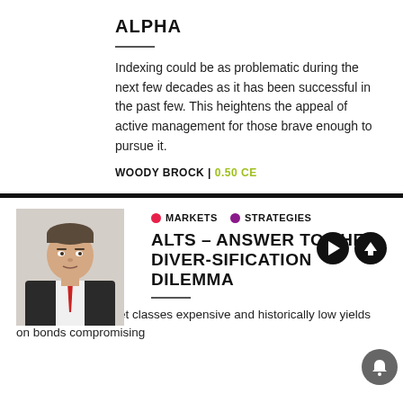ALPHA
Indexing could be as problematic during the next few decades as it has been successful in the past few. This heightens the appeal of active management for those brave enough to pursue it.
WOODY BROCK | 0.50 CE
[Figure (photo): Headshot of a man in a dark suit with a red tie, light background]
MARKETS  STRATEGIES
ALTS – ANSWER TO THE DIVER-SIFICATION DILEMMA
With traditional asset classes expensive and historically low yields on bonds compromising